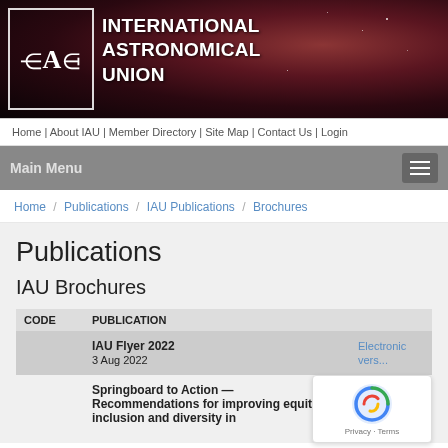[Figure (logo): IAU header banner with logo and title International Astronomical Union against a dark nebula background]
Home | About IAU | Member Directory | Site Map | Contact Us | Login
Main Menu
Home / Publications / IAU Publications / Brochures
Publications
IAU Brochures
| CODE | PUBLICATION |  |
| --- | --- | --- |
|  | IAU Flyer 2022
3 Aug 2022 | Electronic vers... |
|  | Springboard to Action — Recommendations for improving equity, inclusion and diversity in | Elec... version |